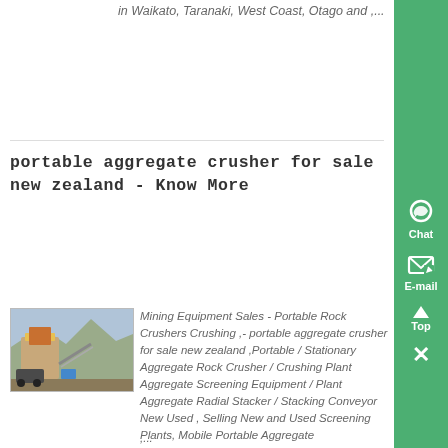in Waikato, Taranaki, West Coast, Otago and ,...
portable aggregate crusher for sale new zealand - Know More
[Figure (photo): Photo of a portable aggregate crusher / mining equipment setup outdoors]
Mining Equipment Sales - Portable Rock Crushers Crushing ,- portable aggregate crusher for sale new zealand ,Portable / Stationary Aggregate Rock Crusher / Crushing Plant Aggregate Screening Equipment / Plant Aggregate Radial Stacker / Stacking Conveyor New Used , Selling New and Used Screening Plants, Mobile Portable Aggregate ,...